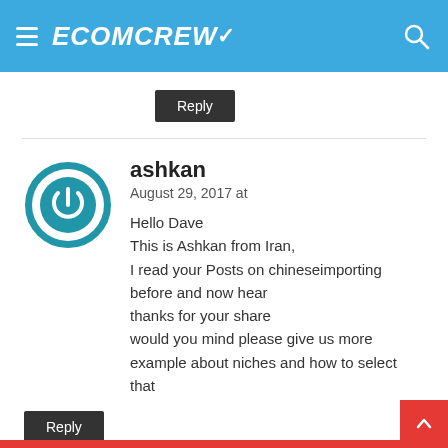ECOMCREW
Reply
ashkan
August 29, 2017 at
Hello Dave
This is Ashkan from Iran,
I read your Posts on chineseimporting before and now hear
thanks for your share
would you mind please give us more example about niches and how to select that
Reply